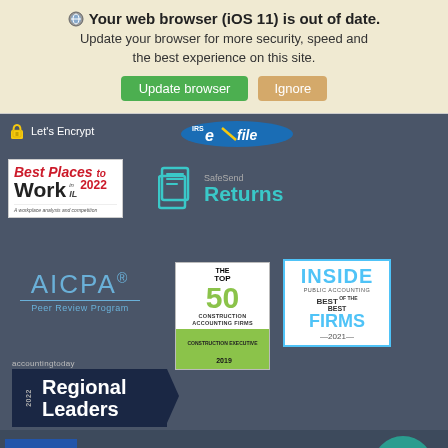Your web browser (iOS 11) is out of date. Update your browser for more security, speed and the best experience on this site.
Update browser
Ignore
[Figure (logo): Let's Encrypt padlock badge]
[Figure (logo): IRS e-file badge]
[Figure (logo): Best Places to Work IL 2022]
[Figure (logo): SafeSend Returns logo]
[Figure (logo): AICPA Peer Review Program logo]
[Figure (logo): The Top 50 Construction Accounting Firms 2019]
[Figure (logo): Inside Public Accounting Best of the Best Firms 2021]
[Figure (logo): accountingTODAY 2022 Regional Leaders]
[Figure (logo): BBB Accredited logo]
BBB Rating: A+
[Figure (logo): Best of Accounting circle badge]